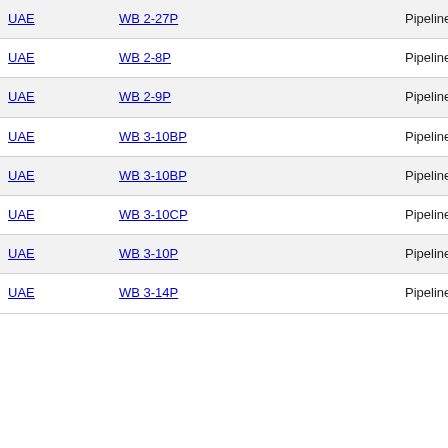| UAE | WB 2-27P | Pipeline | 9.28 |
| UAE | WB 2-8P | Pipeline | 1.84 |
| UAE | WB 2-9P | Pipeline | 18.85 |
| UAE | WB 3-10BP | Pipeline |  |
| UAE | WB 3-10BP | Pipeline |  |
| UAE | WB 3-10CP | Pipeline |  |
| UAE | WB 3-10P | Pipeline | 0.82 |
| UAE | WB 3-14P | Pipeline | 0.85 |